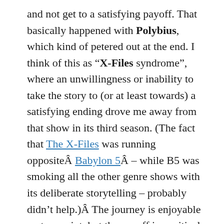and not get to a satisfying payoff. That basically happened with Polybius, which kind of petered out at the end. I think of this as "X-Files syndrome", where an unwillingness or inability to take the story to (or at least towards) a satisfying ending drove me away from that show in its third season. (The fact that The X-Files was running oppositeÂ Babylon 5Â – while B5 was smoking all the other genre shows with its deliberate storytelling – probably didn’t help.)Â The journey is enjoyable up to a point, but the payoff is a critical part of stories like this. I don’t think everyone agrees with me on that (evidence: the persistent and baffling popularity of The X-Files), but to me it’s